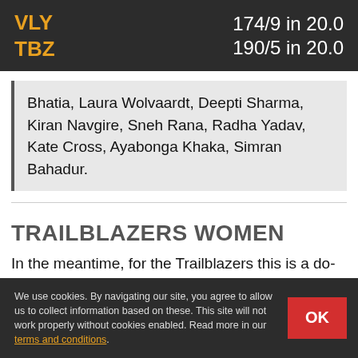VLY 174/9 in 20.0
TBZ 190/5 in 20.0
Bhatia, Laura Wolvaardt, Deepti Sharma, Kiran Navgire, Sneh Rana, Radha Yadav, Kate Cross, Ayabonga Khaka, Simran Bahadur.
TRAILBLAZERS WOMEN
In the meantime, for the Trailblazers this is a do-or-die situation competing. They have to record a win by a massive margin to confirm their position in the competition finals. This probability appears to be
We use cookies. By navigating our site, you agree to allow us to collect information based on these. This site will not work properly without cookies enabled. Read more in our terms and conditions.